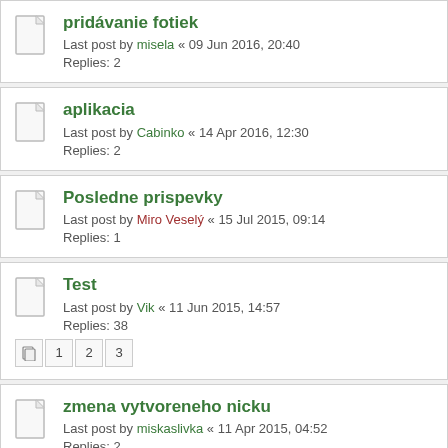pridávanie fotiek
Last post by misela « 09 Jun 2016, 20:40
Replies: 2
aplikacia
Last post by Cabinko « 14 Apr 2016, 12:30
Replies: 2
Posledne prispevky
Last post by Miro Veselý « 15 Jul 2015, 09:14
Replies: 1
Test
Last post by Vik « 11 Jun 2015, 14:57
Replies: 38
Pages: 1 2 3
zmena vytvoreneho nicku
Last post by miskaslivka « 11 Apr 2015, 04:52
Replies: 2